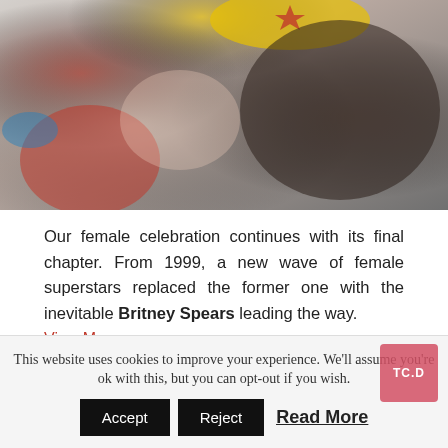[Figure (photo): A child wearing a red superhero costume and yellow star crown/hat, leaning over another person with dark hair. Warm, slightly blurred lifestyle photo.]
Our female celebration continues with its final chapter. From 1999, a new wave of female superstars replaced the former one with the inevitable Britney Spears leading the way.
View More »
| 65 | 5 |
| --- | --- |
Pages: 1 2 3 4 5 6 7 8 9 10 11 12 13 14 15 16 17 18 19 20
This website uses cookies to improve your experience. We'll assume you're ok with this, but you can opt-out if you wish.
Accept   Reject   Read More